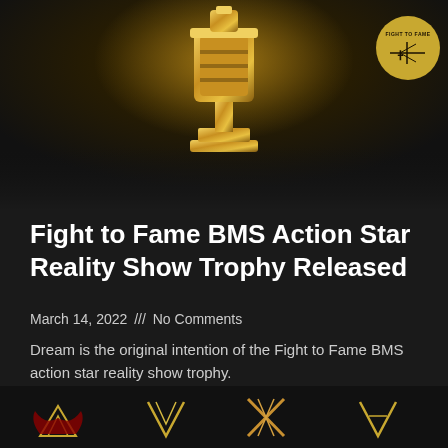[Figure (photo): Gold trophy on dark background with golden glow, Fight to Fame BMS logo circle in top right corner]
Fight to Fame BMS Action Star Reality Show Trophy Released
March 14, 2022 /// No Comments
Dream is the original intention of the Fight to Fame BMS action star reality show trophy.
READ MORE »
[Figure (illustration): Row of decorative gold and red trophy/emblem symbols along the bottom strip]